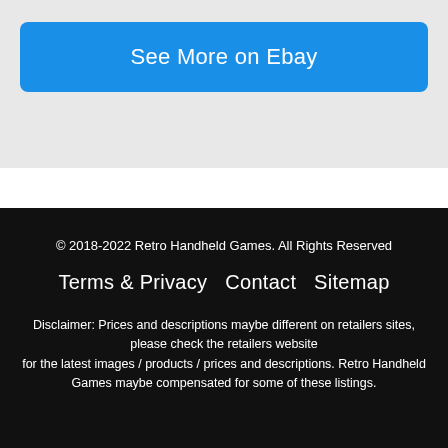[Figure (other): Blue button labeled 'See More on Ebay' on a light gray background]
© 2018-2022 Retro Handheld Games. All Rights Reserved
Terms & Privacy   Contact   Sitemap
Disclaimer: Prices and descriptions maybe different on retailers sites, please check the retailers website for the latest images / products / prices and descriptions. Retro Handheld Games maybe compensated for some of these listings.